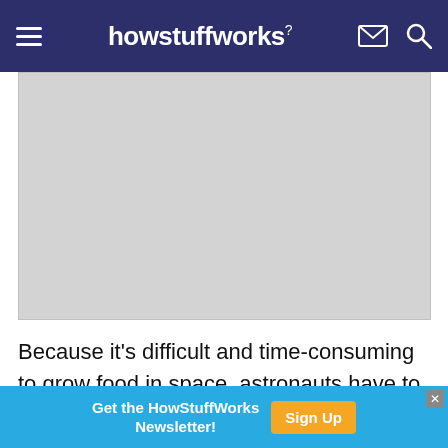howstuffworks
[Figure (photo): Gray placeholder image area for an article photo]
Because it's difficult and time-consuming to grow food in space, astronauts have to rely on items in their closed environment. The linchpin of the system is anaerobic digestion, which can break down
[Figure (other): Advertisement banner: Get the HowStuffWorks Newsletter! Sign Up button]